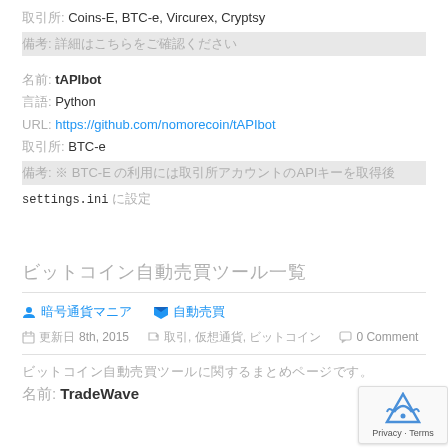取引所: Coins-E, BTC-e, Vircurex, Cryptsy
備考: 詳細はこちらをご確認ください
名前: tAPIbot
言語: Python
URL: https://github.com/nomorecoin/tAPIbot
取引所: BTC-e
備考: ※ BTC-E の利用には取引所アカウントのAPIキーを取得後 settings.ini に設定
ビットコイン自動売買ツール一覧
著者: 暗号通貨マニア　カテゴリ: 自動売買
更新日 8th, 2015  タグ: 取引, 仮想通貨, ビットコイン  0 Comment
ビットコイン自動売買ツールに関するまとめページです。
名前: TradeWave